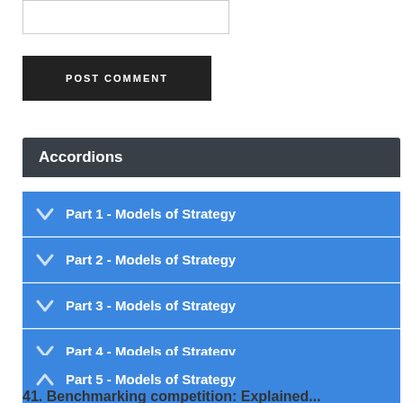[Figure (screenshot): Empty text input box / comment field]
POST COMMENT
Accordions
Part 1 - Models of Strategy
Part 2 - Models of Strategy
Part 3 - Models of Strategy
Part 4 - Models of Strategy
Part 5 - Models of Strategy
41. Benchmarking competition: Explained...